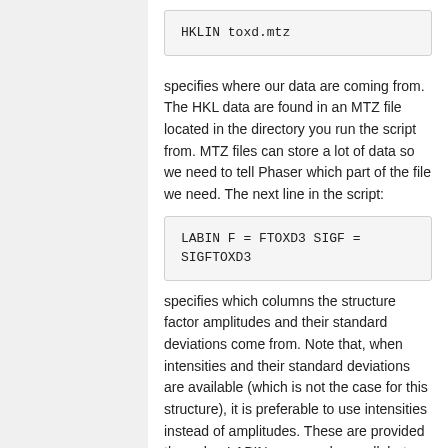specifies where our data are coming from. The HKL data are found in an MTZ file located in the directory you run the script from. MTZ files can store a lot of data so we need to tell Phaser which part of the file we need. The next line in the script:
specifies which columns the structure factor amplitudes and their standard deviations come from. Note that, when intensities and their standard deviations are available (which is not the case for this structure), it is preferable to use intensities instead of amplitudes. These are provided through a LABIN command as well, but with I and SIGI instead of F and SIGF. From Phaser-2.7.12, if only one I column is present in the mtz file, this will be used else if